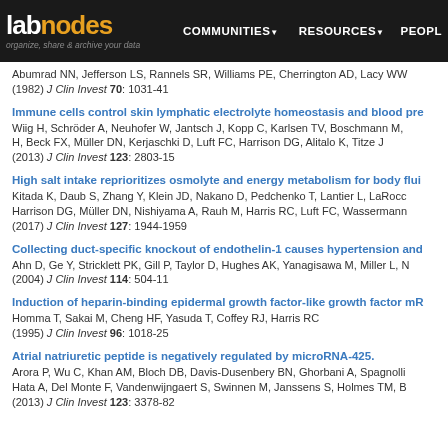labnodes | COMMUNITIES | RESOURCES | PEOPLE
Abumrad NN, Jefferson LS, Rannels SR, Williams PE, Cherrington AD, Lacy WW (1982) J Clin Invest 70: 1031-41
Immune cells control skin lymphatic electrolyte homeostasis and blood pre
Wiig H, Schröder A, Neuhofer W, Jantsch J, Kopp C, Karlsen TV, Boschmann M, H, Beck FX, Müller DN, Kerjaschki D, Luft FC, Harrison DG, Alitalo K, Titze J
(2013) J Clin Invest 123: 2803-15
High salt intake reprioritizes osmolyte and energy metabolism for body flui
Kitada K, Daub S, Zhang Y, Klein JD, Nakano D, Pedchenko T, Lantier L, LaRocc Harrison DG, Müller DN, Nishiyama A, Rauh M, Harris RC, Luft FC, Wassermann
(2017) J Clin Invest 127: 1944-1959
Collecting duct-specific knockout of endothelin-1 causes hypertension and
Ahn D, Ge Y, Stricklett PK, Gill P, Taylor D, Hughes AK, Yanagisawa M, Miller L, N
(2004) J Clin Invest 114: 504-11
Induction of heparin-binding epidermal growth factor-like growth factor mR
Homma T, Sakai M, Cheng HF, Yasuda T, Coffey RJ, Harris RC
(1995) J Clin Invest 96: 1018-25
Atrial natriuretic peptide is negatively regulated by microRNA-425.
Arora P, Wu C, Khan AM, Bloch DB, Davis-Dusenbery BN, Ghorbani A, Spagnolli Hata A, Del Monte F, Vandenwijngaert S, Swinnen M, Janssens S, Holmes TM, B
(2013) J Clin Invest 123: 3378-82